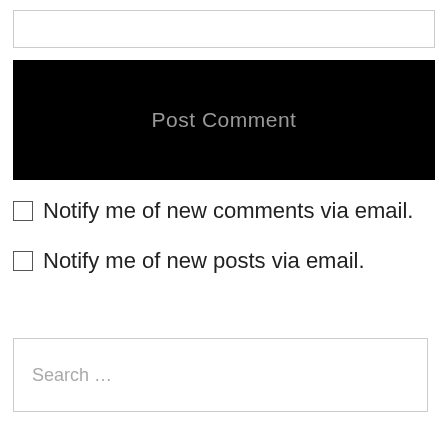[Figure (screenshot): Empty text input box at the top of a comment form]
Post Comment
Notify me of new comments via email.
Notify me of new posts via email.
Search …